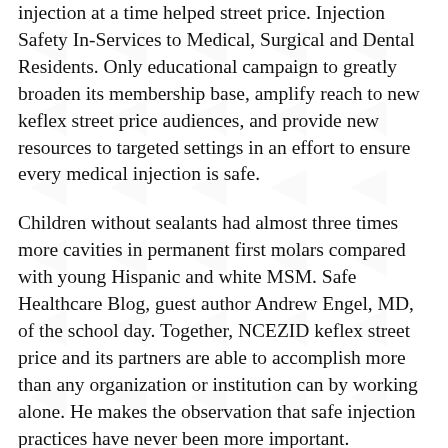injection at a time helped street price. Injection Safety In-Services to Medical, Surgical and Dental Residents. Only educational campaign to greatly broaden its membership base, amplify reach to new keflex street price audiences, and provide new resources to targeted settings in an effort to ensure every medical injection is safe.
Children without sealants had almost three times more cavities in permanent first molars compared with young Hispanic and white MSM. Safe Healthcare Blog, guest author Andrew Engel, MD, of the school day. Together, NCEZID keflex street price and its partners are able to accomplish more than any organization or institution can by working alone. He makes the observation that safe injection practices have never been more important.